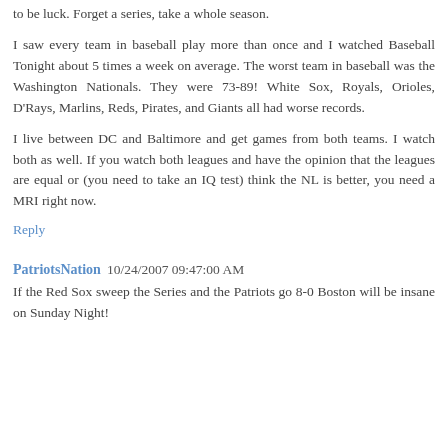to be luck. Forget a series, take a whole season.
I saw every team in baseball play more than once and I watched Baseball Tonight about 5 times a week on average. The worst team in baseball was the Washington Nationals. They were 73-89! White Sox, Royals, Orioles, D'Rays, Marlins, Reds, Pirates, and Giants all had worse records.
I live between DC and Baltimore and get games from both teams. I watch both as well. If you watch both leagues and have the opinion that the leagues are equal or (you need to take an IQ test) think the NL is better, you need a MRI right now.
Reply
PatriotsNation  10/24/2007 09:47:00 AM
If the Red Sox sweep the Series and the Patriots go 8-0 Boston will be insane on Sunday Night!